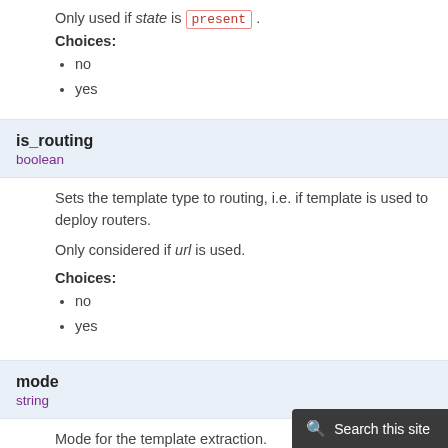Only used if state is present.
Choices:
no
yes
is_routing
boolean
Sets the template type to routing, i.e. if template is used to deploy routers.
Only considered if url is used.
Choices:
no
yes
mode
string
Mode for the template extraction.